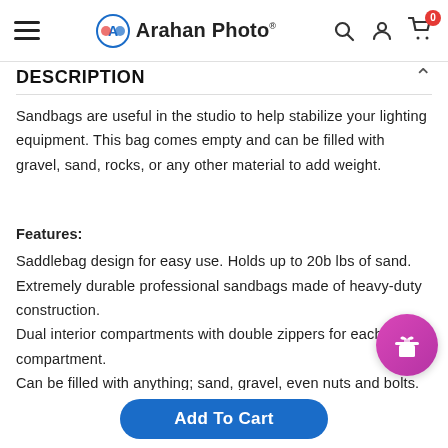Arahan Photo
DESCRIPTION
Sandbags are useful in the studio to help stabilize your lighting equipment. This bag comes empty and can be filled with gravel, sand, rocks, or any other material to add weight.
Features: Saddlebag design for easy use. Holds up to 20b lbs of sand. Extremely durable professional sandbags made of heavy-duty construction. Dual interior compartments with double zippers for each compartment. Can be filled with anything; sand, gravel, even nuts and bolts.
Add To Cart